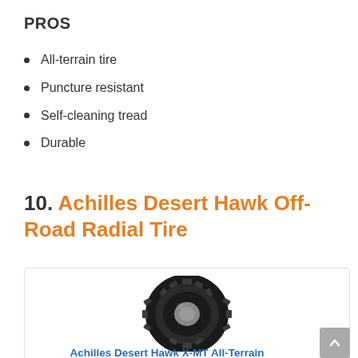PROS
All-terrain tire
Puncture resistant
Self-cleaning tread
Durable
10. Achilles Desert Hawk Off-Road Radial Tire
[Figure (photo): Photo of an off-road radial tire (Achilles Desert Hawk) shown at an angle on a white background, with aggressive tread pattern visible]
Achilles Desert Hawk X-MT All-Terrain